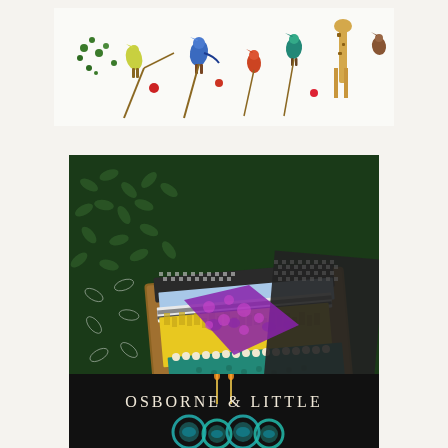[Figure (photo): Horizontal banner image showing illustrated birds, animals, and botanical elements on a white background — colorful birds perched on branches, a giraffe, and various flora in a decorative pattern style.]
[Figure (photo): Square photo of stacked fabric swatches on a wooden tray, showing various textile patterns including a dark green leaf print, black-and-white houndstooth/woven textures, bold yellow ikat stripes, teal braided trim, and floral patterns in purple and pink.]
[Figure (photo): Partial view of a dark background sign or logo reading 'OSBORNE & LITTLE' in white serif lettering, with decorative teal/turquoise circular motifs below.]